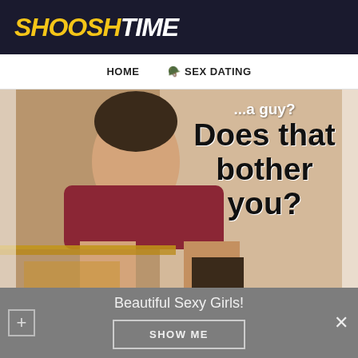SHOOSHTIME
HOME  SEX DATING
[Figure (photo): A young woman in a red mini skirt posing on a desk, with text overlay reading '...a guy? Does that bother you?']
Beautiful Sexy Girls!
SHOW ME